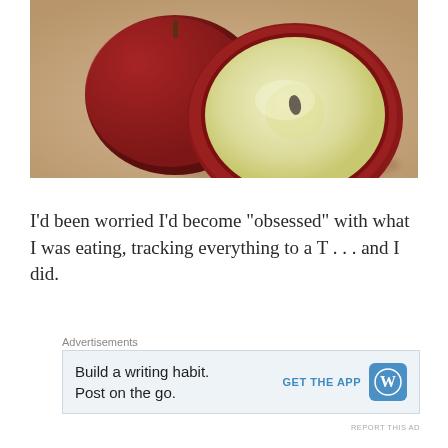[Figure (photo): Close-up photo of a halved red apple showing the cut interior with a seed, placed on a wooden surface with another apple in the background]
I'd been worried I'd become “obsessed” with what I was eating, tracking everything to a T . . . and I did.
Advertisements
[Figure (infographic): WordPress advertisement: 'Build a writing habit. Post on the go.' with GET THE APP button and WordPress logo]
REPORT THIS AD